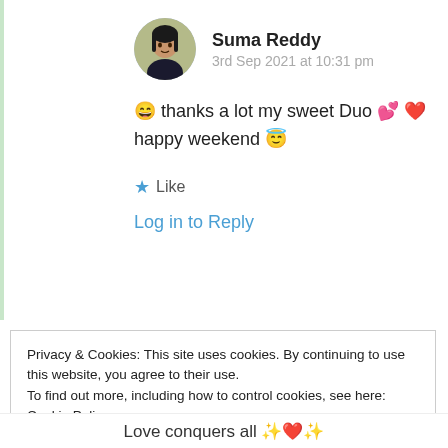Suma Reddy
3rd Sep 2021 at 10:31 pm
😄 thanks a lot my sweet Duo 💕 ❤️
happy weekend 😇
★ Like
Log in to Reply
Privacy & Cookies: This site uses cookies. By continuing to use this website, you agree to their use.
To find out more, including how to control cookies, see here: Cookie Policy
Close and accept
Love conquers all ✨❤️✨